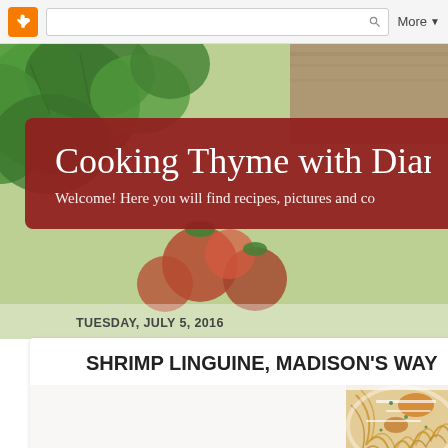[Figure (screenshot): Blogger navigation bar with orange B icon, search box with magnifying glass, and More dropdown button]
[Figure (photo): Green leafy vegetables and red tomatoes background hero image for cooking blog]
Cooking Thyme with Dian
Welcome! Here you will find recipes, pictures and co
TUESDAY, JULY 5, 2016
SHRIMP LINGUINE, MADISON'S WAY
[Figure (photo): A plate of shrimp linguine pasta with parmesan cheese and herbs garnish]